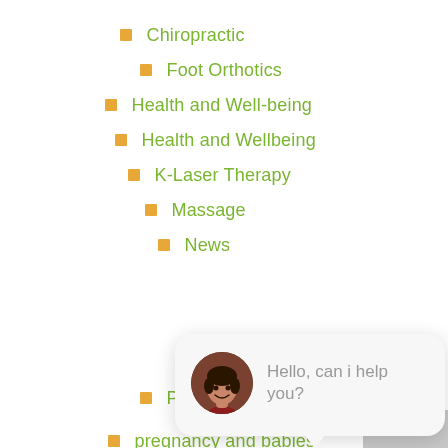Chiropractic
Foot Orthotics
Health and Well-being
Health and Wellbeing
K-Laser Therapy
Massage
News
Posture
pregnancy and babies
Reflex Spinal Health Cycling Club
[Figure (screenshot): Chat widget with close button, avatar of a woman smiling, text 'Hello, can i help you?', and a blue chat icon button in the bottom-right corner.]